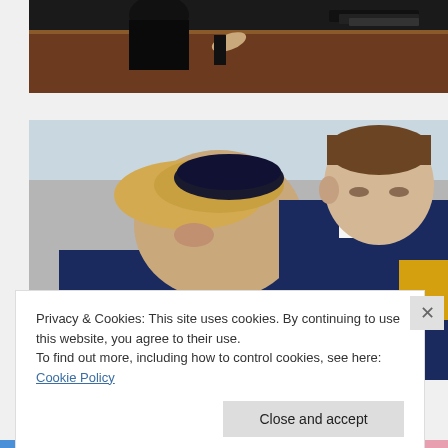[Figure (photo): Top portion of a photo showing people at a desk, partial view, dark background]
[Figure (photo): Two men, one with blonde hair wearing a dark kippah (Jewish skullcap), the other a younger man in a suit, photographed outdoors]
Privacy & Cookies: This site uses cookies. By continuing to use this website, you agree to their use.
To find out more, including how to control cookies, see here: Cookie Policy
Close and accept